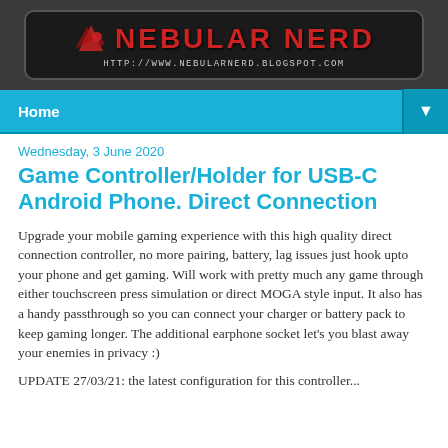NEBULAR NERD — http://www.nebularnerd.blogspot.com
Home ▼
Wednesday, 3 June 2020
Game Controller/Holder for USB-C Android Phone. Direct Connection
Upgrade your mobile gaming experience with this high quality direct connection controller, no more pairing, battery, lag issues just hook upto your phone and get gaming. Will work with pretty much any game through either touchscreen press simulation or direct MOGA style input. It also has a handy passthrough so you can connect your charger or battery pack to keep gaming longer. The additional earphone socket let's you blast away your enemies in privacy :)
UPDATE 27/03/21: the latest configuration for this controller...